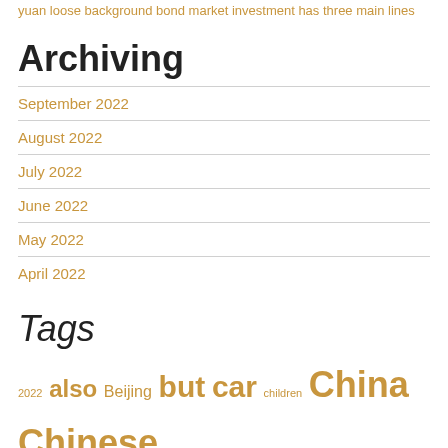yuan loose background bond market investment has three main lines
Archiving
September 2022
August 2022
July 2022
June 2022
May 2022
April 2022
Tags
2022 also Beijing but car children China Chinese